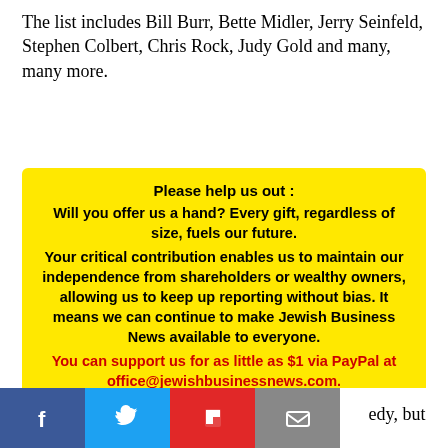The list includes Bill Burr, Bette Midler, Jerry Seinfeld, Stephen Colbert, Chris Rock, Judy Gold and many, many more.
Please help us out : Will you offer us a hand? Every gift, regardless of size, fuels our future. Your critical contribution enables us to maintain our independence from shareholders or wealthy owners, allowing us to keep up reporting without bias. It means we can continue to make Jewish Business News available to everyone. You can support us for as little as $1 via PayPal at office@jewishbusinessnews.com. Thank you.
edy, but